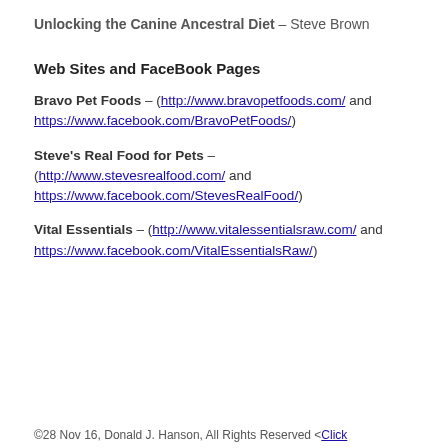Unlocking the Canine Ancestral Diet – Steve Brown
Web Sites and FaceBook Pages
Bravo Pet Foods – (http://www.bravopetfoods.com/ and https://www.facebook.com/BravoPetFoods/)
Steve's Real Food for Pets – (http://www.stevesrealfood.com/ and https://www.facebook.com/StevesRealFood/)
Vital Essentials – (http://www.vitalessentialsraw.com/ and https://www.facebook.com/VitalEssentialsRaw/)
©28 Nov 16, Donald J. Hanson, All Rights Reserved <Click